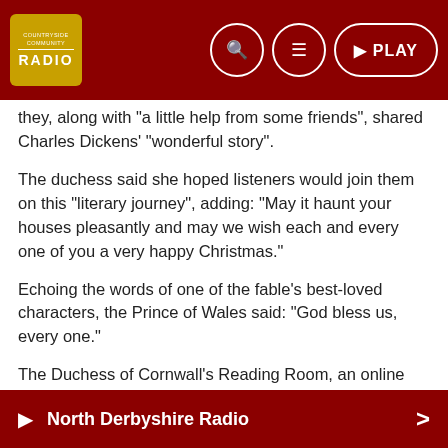Radio [logo] | Search | Menu | PLAY
they, along with “a little help from some friends”, shared Charles Dickens’ “wonderful story”.
The duchess said she hoped listeners would join them on this “literary journey”, adding: “May it haunt your houses pleasantly and may we wish each and every one of you a very happy Christmas.”
Echoing the words of one of the fable's best-loved characters, the Prince of Wales said: “God bless us, every one.”
The Duchess of Cornwall’s Reading Room, an online literary hub, was launched in January 2021, inspired by the success of the duchess’s reading lists shared during the pandemic in 2020.
It offers book recommendations and exclusive insight from the authors themselves.
North Derbyshire Radio